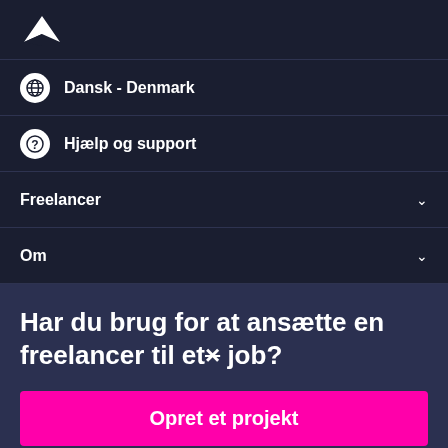[Figure (logo): Freelancer.com bird/arrow logo in white on dark navy background]
Dansk - Denmark
Hjælp og support
Freelancer
Om
Har du brug for at ansætte en freelancer til et job?
Opret et projekt